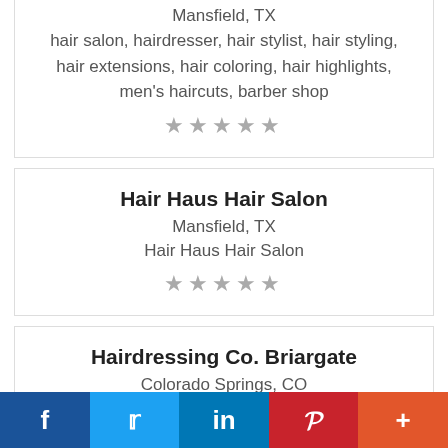Mansfield, TX
hair salon, hairdresser, hair stylist, hair styling, hair extensions, hair coloring, hair highlights, men's haircuts, barber shop
★★★★★
Hair Haus Hair Salon
Mansfield, TX
Hair Haus Hair Salon
★★★★★
Hairdressing Co. Briargate
Colorado Springs, CO
Hair Salon, Beauty Salon
★★★★★
f  t  in  P  +